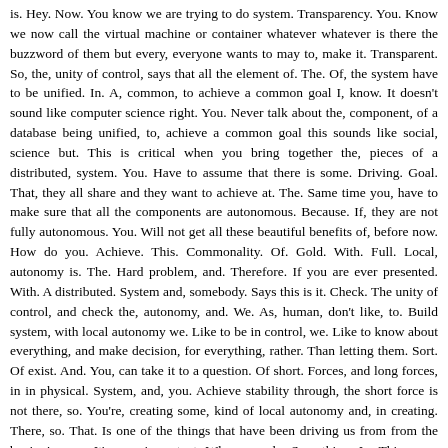is. Hey. Now. You know we are trying to do system. Transparency. You. Know we now call the virtual machine or container whatever whatever is there the buzzword of them but every, everyone wants to may to, make it. Transparent. So, the, unity of control, says that all the element of. The. Of, the system have to be unified. In. A, common, to achieve a common goal I, know. It doesn't sound like computer science right. You. Never talk about the, component, of a database being unified, to, achieve a common goal this sounds like social, science but. This is critical when you bring together the, pieces of a distributed, system. You. Have to assume that there is some. Driving. Goal. That, they all share and they want to achieve at. The. Same time you, have to make sure that all the components are autonomous. Because. If, they are not fully autonomous. You. Will not get all these beautiful benefits of, before now. How do you. Achieve. This. Commonality. Of. Gold. With. Full. Local, autonomy is. The. Hard problem, and. Therefore. If you are ever presented. With. A distributed. System and, somebody. Says this is it. Check. The unity of control, and check the, autonomy, and. We. As, human, don't like, to. Build system, with local autonomy we. Like to be in control, we. Like to know about everything, and make decision, for everything, rather. Than letting them. Sort. Of exist. And. You, can take it to a question. Of short. Forces, and long forces, in in physical. System, and, you. Achieve stability through, the short force is not there, so. You're, creating some, kind of local autonomy and, in creating. There, so. That. Is one of the things that have been driving us from from the beginning, so. It's very important. When you do. Something. In. This space whether, it's your PhD or a continuation, of it try, to put. It on on, principles. Rather, than on the the latest buzzword of the day, at. The same time if you build systems. Then. You have to go to the, to the masters and see what did they teach us and I. Assume I don't have to introduce Dijkstra. To you, but. He published, in. 68. It. Was received. Presented. That the. Or. I think it's actually happening, this week the. The operator, oh yeah. The operating, system the. ACM. Operating. System. conference. is happening this week in. 67